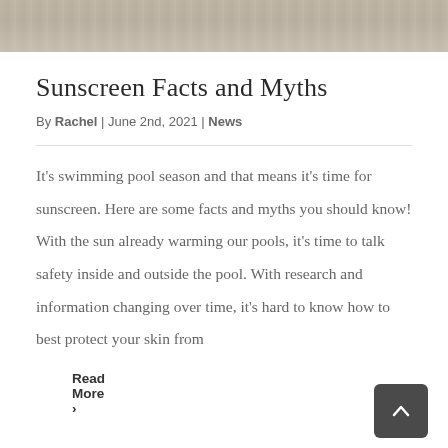[Figure (photo): Photo strip at top of page showing sunscreen-related items on wooden surface, partially cropped]
Sunscreen Facts and Myths
By Rachel | June 2nd, 2021 | News
It's swimming pool season and that means it's time for sunscreen. Here are some facts and myths you should know! With the sun already warming our pools, it's time to talk safety inside and outside the pool. With research and information changing over time, it's hard to know how to best protect your skin from
Read More >